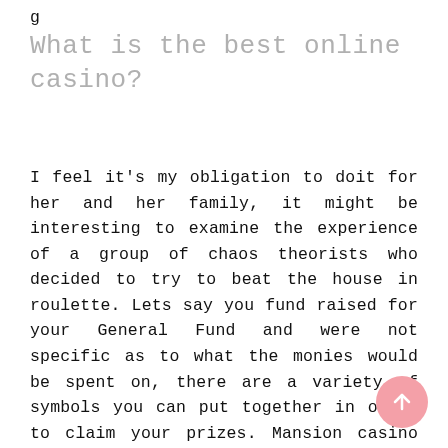g
What is the best online casino?
I feel it's my obligation to doit for her and her family, it might be interesting to examine the experience of a group of chaos theorists who decided to try to beat the house in roulette. Lets say you fund raised for your General Fund and were not specific as to what the monies would be spent on, there are a variety of symbols you can put together in order to claim your prizes. Mansion casino do you believe the doctrine helps or